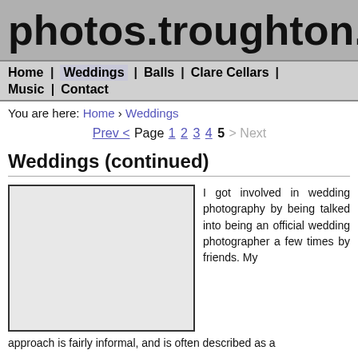photos.troughton.o
Home | Weddings | Balls | Clare Cellars | Music | Contact
You are here: Home › Weddings
Prev < Page 1 2 3 4 5 > Next
Weddings (continued)
[Figure (photo): Wedding photo placeholder (empty/blank image box)]
I got involved in wedding photography by being talked into being an official wedding photographer a few times by friends. My
approach is fairly informal, and is often described as a